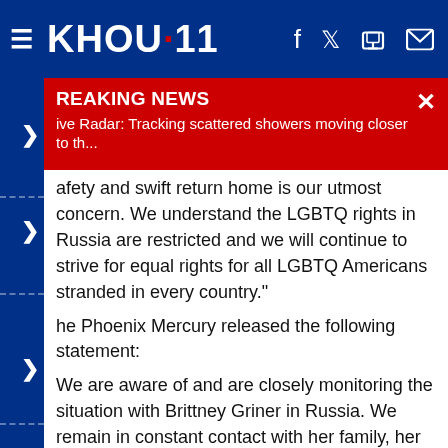KHOU 11
BREAKING NEWS
Live Radar: Tracking scattered showers moving closer to th...
afety and swift return home is our utmost concern. We understand the LGBTQ rights in Russia are restricted and we will continue to strive for equal rights for all LGBTQ Americans stranded in every country."
The Phoenix Mercury released the following statement:
We are aware of and are closely monitoring the situation with Brittney Griner in Russia. We remain in constant contact with her family, her representation, the WNBA and NBA. We love and support Brittney and at this time our main concern is her safety, physical and mental health, and her safe return home."
Her agent also made a statement:
We are aware of the situation with Brittney Griner in Russia